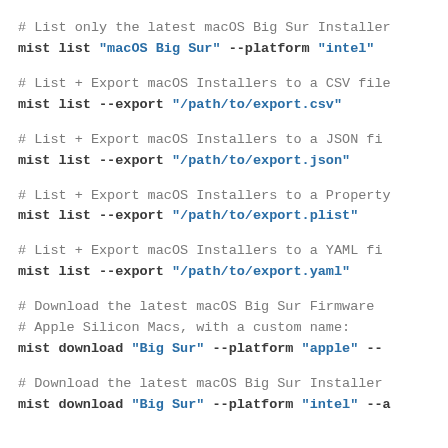# List only the latest macOS Big Sur Installer
mist list "macOS Big Sur" --platform "intel"
# List + Export macOS Installers to a CSV file
mist list --export "/path/to/export.csv"
# List + Export macOS Installers to a JSON file
mist list --export "/path/to/export.json"
# List + Export macOS Installers to a Property
mist list --export "/path/to/export.plist"
# List + Export macOS Installers to a YAML file
mist list --export "/path/to/export.yaml"
# Download the latest macOS Big Sur Firmware
# Apple Silicon Macs, with a custom name:
mist download "Big Sur" --platform "apple" --
# Download the latest macOS Big Sur Installer
mist download "Big Sur" --platform "intel" --a